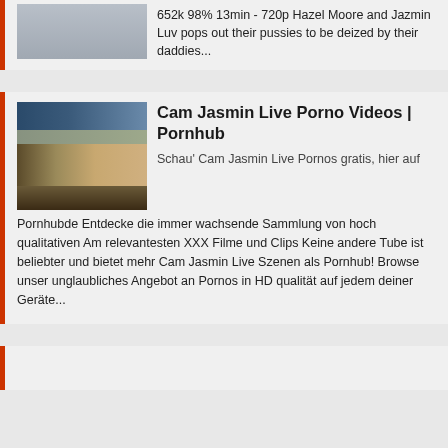652k 98% 13min - 720p Hazel Moore and Jazmin Luv pops out their pussies to be deized by their daddies...
Cam Jasmin Live Porno Videos | Pornhub
Schau' Cam Jasmin Live Pornos gratis, hier auf Pornhubde Entdecke die immer wachsende Sammlung von hoch qualitativen Am relevantesten XXX Filme und Clips Keine andere Tube ist beliebter und bietet mehr Cam Jasmin Live Szenen als Pornhub! Browse unser unglaubliches Angebot an Pornos in HD qualität auf jedem deiner Geräte...